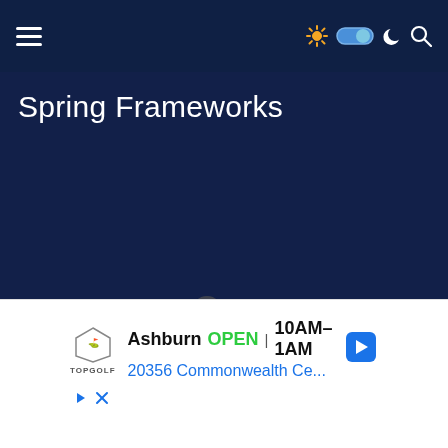Spring Frameworks
[Figure (screenshot): Dark navy blue webpage background with hamburger menu icon on left, and sun/toggle/moon/search icons on right in navigation bar. Large dark navy content area below.]
[Figure (other): Advertisement banner: Topgolf logo, Ashburn OPEN 10AM-1AM, 20356 Commonwealth Ce..., navigation arrow icon, play and close icons at bottom left.]